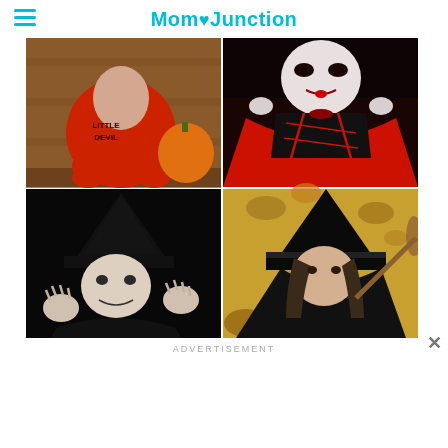MomJunction
[Figure (photo): 2x2 grid of Halloween costume photos for children: top-left shows a baby in a red devil costume sitting on hay with a pumpkin, top-right shows a girl in a vampire costume with red and black outfit and white face makeup, bottom-left shows a young child in a black witch costume with pointed hat against dark background, bottom-right shows a girl in a black witch cape and hat outdoors with autumn leaves]
ADVERTISEMENT